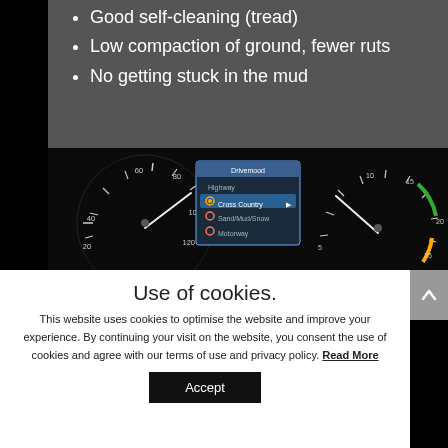Good self-cleaning (tread)
Low compaction of ground, fewer ruts
No getting stuck in the mud
[Figure (photo): Car dashboard showing speedometer, a central screen with terrain mode menu (Highway, Cross Country, Sand/Mud/Snow, Motorway) with Cross Country selected, and a rev counter]
Use of cookies.
This website uses cookies to optimise the website and improve your experience. By continuing your visit on the website, you consent the use of cookies and agree with our terms of use and privacy policy. Read More
Accept